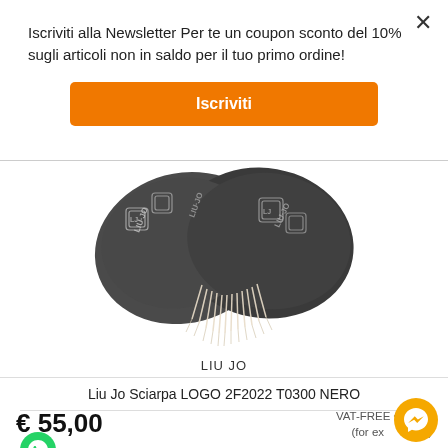Iscriviti alla Newsletter Per te un coupon sconto del 10% sugli articoli non in saldo per il tuo primo ordine!
Iscriviti
[Figure (photo): Dark grey Liu Jo branded scarf with fringe/tassels and repeating Liu Jo logo pattern]
LIU JO
Liu Jo Sciarpa LOGO 2F2022 T0300 NERO
€ 55,00
VAT-FREE € 45,08
(for export only)